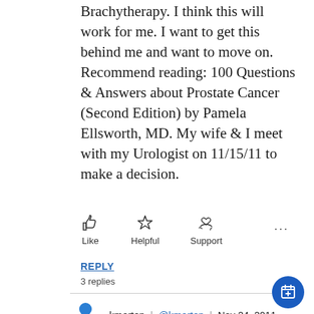Brachytherapy. I think this will work for me. I want to get this behind me and want to move on. Recommend reading: 100 Questions & Answers about Prostate Cancer (Second Edition) by Pamela Ellsworth, MD. My wife & I meet with my Urologist on 11/15/11 to make a decision.
[Figure (other): Action buttons row: Like (thumbs up icon), Helpful (star icon), Support (hands with heart icon), and a three-dot more menu]
REPLY
3 replies
kmerten | @kmerten | Nov 24, 2011